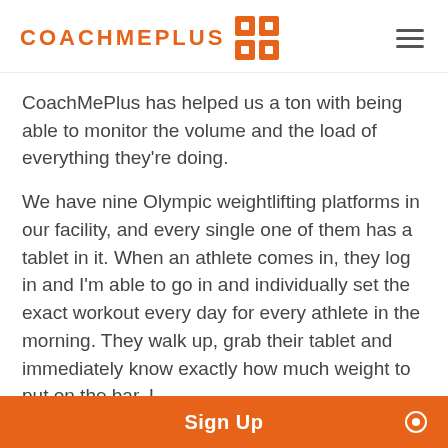COACHMEPLUS
CoachMePlus has helped us a ton with being able to monitor the volume and the load of everything they're doing.
We have nine Olympic weightlifting platforms in our facility, and every single one of them has a tablet in it. When an athlete comes in, they log in and I'm able to go in and individually set the exact workout every day for every athlete in the morning. They walk up, grab their tablet and immediately know exactly how much weight to put on the bar. I
Sign Up